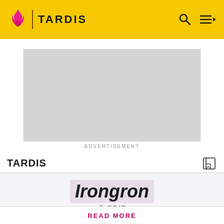TARDIS
[Figure (screenshot): Grey advertisement placeholder rectangle]
ADVERTISEMENT
TARDIS
Irongron
✏ EDIT
Spoilers are precisely defined here. Rules vary by the story's medium. Info from television stories can't be added here
READ MORE